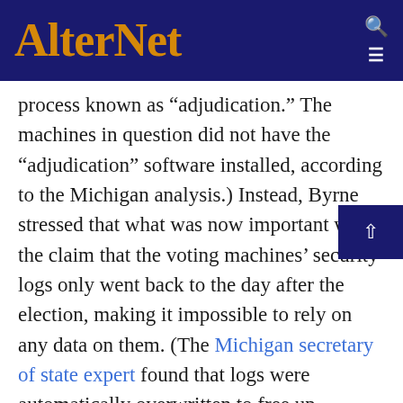AlterNet
process known as “adjudication.” The machines in question did not have the “adjudication” software installed, according to the Michigan analysis.) Instead, Byrne stressed that what was now important was the claim that the voting machines’ security logs only went back to the day after the election, making it impossible to rely on any data on them. (The Michigan secretary of state expert found that logs were automatically overwritten to free up memory and that “the timing appears to be a coincidence,” though it said that having